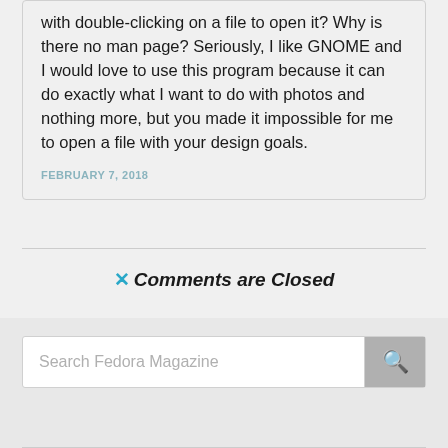with double-clicking on a file to open it? Why is there no man page? Seriously, I like GNOME and I would love to use this program because it can do exactly what I want to do with photos and nothing more, but you made it impossible for me to open a file with your design goals.
FEBRUARY 7, 2018
✕ Comments are Closed
Search Fedora Magazine